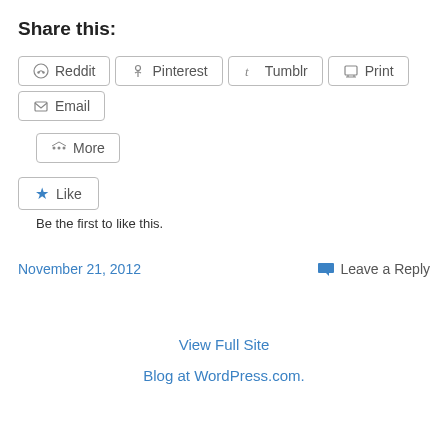Share this:
Reddit  Pinterest  Tumblr  Print  Email  More
Like
Be the first to like this.
November 21, 2012
Leave a Reply
View Full Site
Blog at WordPress.com.